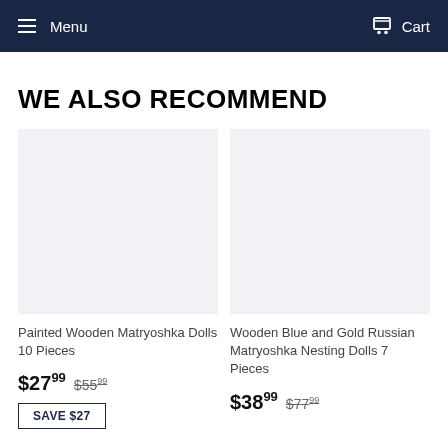Menu   Cart
WE ALSO RECOMMEND
Painted Wooden Matryoshka Dolls 10 Pieces
$27.99  $55.99
Wooden Blue and Gold Russian Matryoshka Nesting Dolls 7 Pieces
$38.99  $77.99